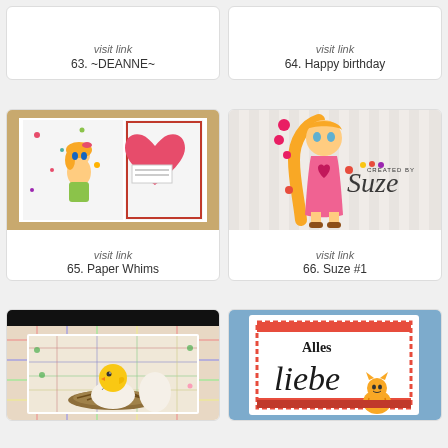[Figure (photo): Top of card 63, partial view with visit link]
visit link
63. ~DEANNE~
[Figure (photo): Top of card 64, partial view with visit link]
visit link
64. Happy birthday
[Figure (photo): Card 65 - Paper Whims: handmade card with anime girl, heart, burlap border]
visit link
65. Paper Whims
[Figure (photo): Card 66 - Suze #1: handmade card with girl in pink dress, flowers, Created by Suze watermark]
visit link
66. Suze #1
[Figure (photo): Card 67 partial - baby chick hatching from egg on plaid background]
[Figure (photo): Card 68 partial - Alles Liebe card with cat illustration, red frame on blue background]